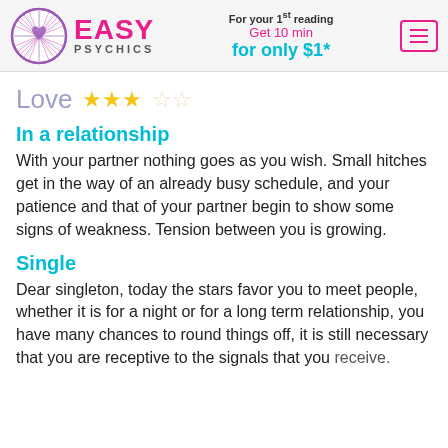Easy Psychics — For your 1st reading Get 10 min for only $1*
Love ★★★☆☆
In a relationship
With your partner nothing goes as you wish. Small hitches get in the way of an already busy schedule, and your patience and that of your partner begin to show some signs of weakness. Tension between you is growing.
Single
Dear singleton, today the stars favor you to meet people, whether it is for a night or for a long term relationship, you have many chances to round things off, it is still necessary that you are receptive to the signals that you receive.